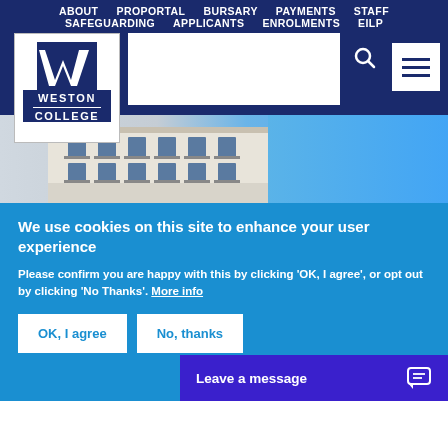ABOUT  PROPORTAL  BURSARY  PAYMENTS  STAFF  SAFEGUARDING  APPLICANTS  ENROLMENTS  EILP
[Figure (logo): Weston College logo with stylized W symbol and white text on dark blue background]
[Figure (photo): Exterior photo of Weston College building with blue sky]
We use cookies on this site to enhance your user experience
Please confirm you are happy with this by clicking 'OK, I agree', or opt out by clicking 'No Thanks'. More info
OK, I agree
No, thanks
Leave a message